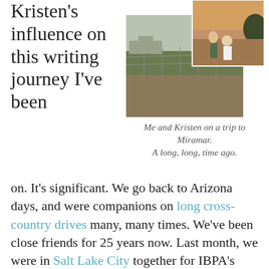Kristen's influence on this writing journey I've been
[Figure (photo): Two overlapping photographs: one showing an outdoor scene with a chain-link fence and open landscape, another showing people near what appears to be a waterfront or boat area at dusk.]
Me and Kristen on a trip to Miramar. A long, long, time ago.
on. It's significant. We go back to Arizona days, and were companions on long cross-country drives many, many times. We've been close friends for 25 years now. Last month, we were in Salt Lake City together for IBPA's Publishing University. She runs two publishing companies, and has been a trusted confidante